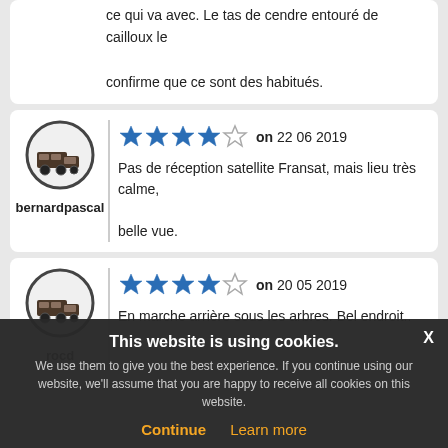ce qui va avec. Le tas de cendre entouré de cailloux le confirme que ce sont des habitués.
choppervo
[Figure (illustration): Motorhome/camper van icon in circle - user avatar for bernardpascal]
on 22 06 2019
Pas de réception satellite Fransat, mais lieu très calme, belle vue.
bernardpascal
[Figure (illustration): Motorhome/camper van icon in circle - user avatar for rocd]
on 20 05 2019
En marche arrière sous les arbres. Bel endroit..
rocd
This website is using cookies. We use them to give you the best experience. If you continue using our website, we'll assume that you are happy to receive all cookies on this website. Continue  Learn more